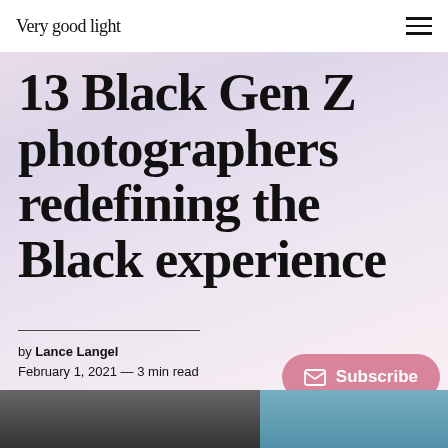Very good light
13 Black Gen Z photographers redefining the Black experience
by Lance Langel
February 1, 2021 — 3 min read
[Figure (photo): Bottom strip showing two photographs side by side: left photo shows a person near a brick wall in black and white, right photo shows a person in color against a blue sky background.]